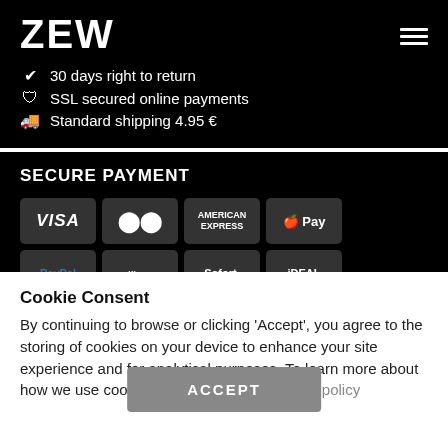ZEW
30 days right to return
SSL secured online payments
Standard shipping 4.95 €
SECURE PAYMENT
[Figure (other): Payment method icons: VISA, Mastercard, American Express, Apple Pay, PayPal, Klarna, Sofort, iDEAL]
Cookie Consent
By continuing to browse or clicking 'Accept', you agree to the storing of cookies on your device to enhance your site experience and for analytical purposes. To learn more about how we use cookies, please visit our cookies policy
ACCEPT